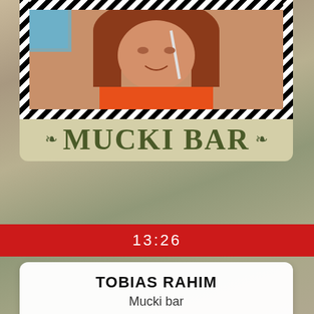[Figure (screenshot): Top portion of a music/social app screen showing Mucki Bar venue card with a person's photo, black and white diagonal stripe border frame, ornamental decorations, and the title MUCKI BAR in large serif text on a vintage-style beige background]
13:26
TOBIAS RAHIM
Mucki bar
[Figure (screenshot): Bottom music player card showing savage garden logo with 'to the moon and back' text on blue background, with album cover art showing a person with dark hair against light blue background]